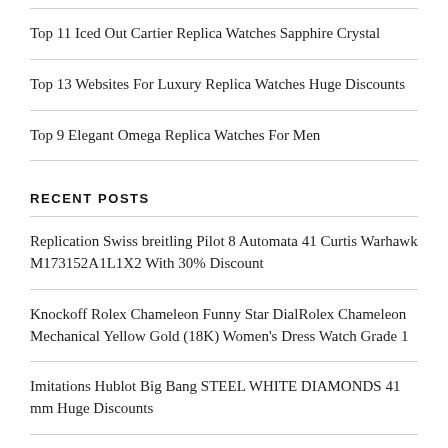Top 11 Iced Out Cartier Replica Watches Sapphire Crystal
Top 13 Websites For Luxury Replica Watches Huge Discounts
Top 9 Elegant Omega Replica Watches For Men
RECENT POSTS
Replication Swiss breitling Pilot 8 Automata 41 Curtis Warhawk M173152A1L1X2 With 30% Discount
Knockoff Rolex Chameleon Funny Star DialRolex Chameleon Mechanical Yellow Gold (18K) Women's Dress Watch Grade 1
Imitations Hublot Big Bang STEEL WHITE DIAMONDS 41 mm Huge Discounts